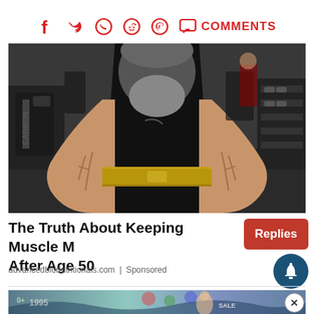Social share icons: Facebook, Twitter, WhatsApp, Reddit, Pinterest, Comments
[Figure (photo): Older muscular man with white beard in black sleeveless shirt and gold weightlifting belt, displaying muscular forearms in a gym setting with exercise equipment visible in background]
The Truth About Keeping Muscle Mass After Age 50
advancedbionutritionals.com | Sponsored
[Figure (photo): Partial bottom advertisement strip with colorful graffiti-style imagery, partially cut off]